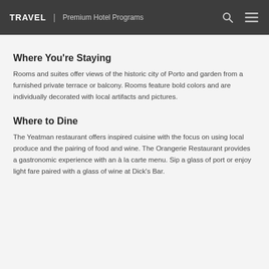TRAVEL | Premium Hotel Programs
Where You're Staying
Rooms and suites offer views of the historic city of Porto and garden from a furnished private terrace or balcony. Rooms feature bold colors and are individually decorated with local artifacts and pictures.
Where to Dine
The Yeatman restaurant offers inspired cuisine with the focus on using local produce and the pairing of food and wine. The Orangerie Restaurant provides a gastronomic experience with an à la carte menu. Sip a glass of port or enjoy light fare paired with a glass of wine at Dick's Bar.